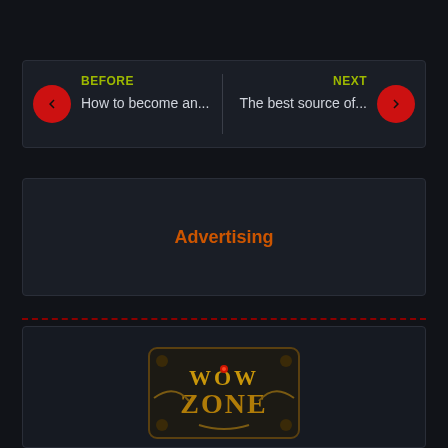[Figure (screenshot): Navigation bar with BEFORE and NEXT labels and red arrow buttons. Left: BEFORE / How to become an... Right: NEXT / The best source of...]
Advertising
[Figure (logo): WowZone game server logo - golden ornate lettering spelling WOW ZONE on dark background]
Wowzone Server Is The Best Server Of World Of Warcraft In Iran. Start Your Game Now With